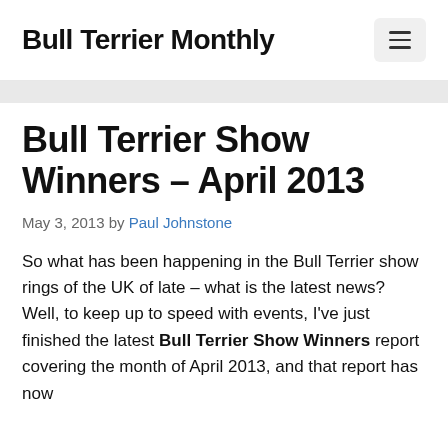Bull Terrier Monthly
Bull Terrier Show Winners – April 2013
May 3, 2013 by Paul Johnstone
So what has been happening in the Bull Terrier show rings of the UK of late – what is the latest news? Well, to keep up to speed with events, I've just finished the latest Bull Terrier Show Winners report covering the month of April 2013, and that report has now